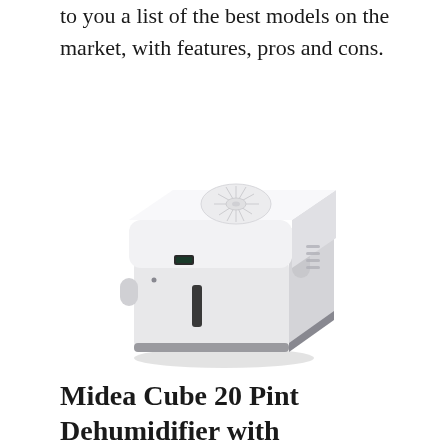to you a list of the best models on the market, with features, pros and cons.
[Figure (photo): Product photo of a Midea Cube 20 Pint Dehumidifier — a white cube-shaped appliance with a rounded top lid featuring a circular fan grille with radiating lines, a small digital display on the front, side handles/grips, ventilation slots on the right side, and a water level indicator window on the front. The unit sits on a dark grey base.]
Midea Cube 20 Pint Dehumidifier with